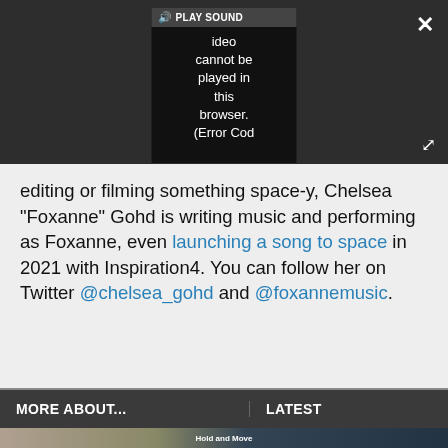[Figure (screenshot): Video player overlay showing error message: 'Video cannot be played in this browser. (Error Cod' with PLAY SOUND button and speaker icon, X close button top right, expand icon bottom right, all on dark background]
editing or filming something space-y, Chelsea "Foxanne" Gohd is writing music and performing as Foxanne, even launching a song to space in 2021 with Inspiration4. You can follow her on Twitter @chelsea_gohd and @foxannemusic.
MORE ABOUT...
LATEST
[Figure (screenshot): Advertisement banner showing 'Hold and Move' app with dark winter tree landscape background and blue UI element]